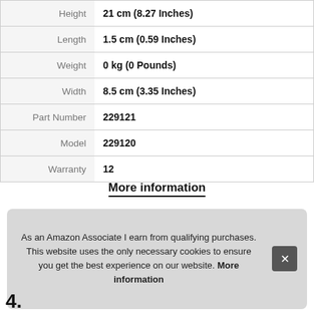| Attribute | Value |
| --- | --- |
| Height | 21 cm (8.27 Inches) |
| Length | 1.5 cm (0.59 Inches) |
| Weight | 0 kg (0 Pounds) |
| Width | 8.5 cm (3.35 Inches) |
| Part Number | 229121 |
| Model | 229120 |
| Warranty | 12 |
More information
As an Amazon Associate I earn from qualifying purchases. This website uses the only necessary cookies to ensure you get the best experience on our website. More information
4.